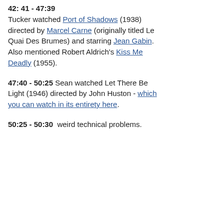42: 41 - 47:39 Tucker watched Port of Shadows (1938) directed by Marcel Carne (originally titled Le Quai Des Brumes) and starring Jean Gabin. Also mentioned Robert Aldrich's Kiss Me Deadly (1955).
47:40 - 50:25 Sean watched Let There Be Light (1946) directed by John Huston - which you can watch in its entirety here.
50:25 - 50:30  weird technical problems.